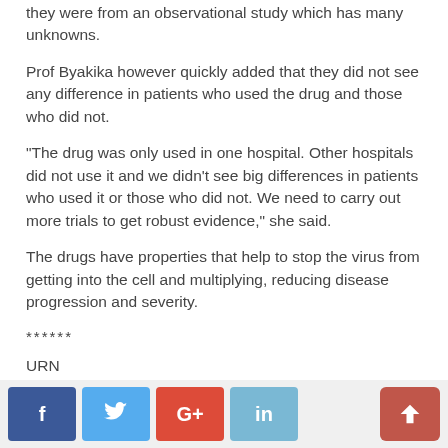they were from an observational study which has many unknowns.
Prof Byakika however quickly added that they did not see any difference in patients who used the drug and those who did not.
“The drug was only used in one hospital. Other hospitals did not use it and we didn’t see big differences in patients who used it or those who did not. We need to carry out more trials to get robust evidence,” she said.
The drugs have properties that help to stop the virus from getting into the cell and multiplying, reducing disease progression and severity.
******
URN
Share on:
[Figure (other): WhatsApp share button (green rounded rectangle with WhatsApp icon and text)]
Social share buttons: Facebook, Twitter, Google+, LinkedIn, and scroll-to-top button